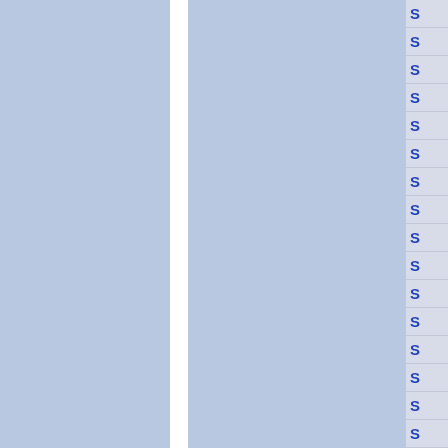[Figure (other): Page layout showing two blue-gray column panels separated by a white vertical divider, with a right-side navigation panel containing repeated letter 'S' entries in blue text on a light gray background with horizontal dividing lines between each row.]